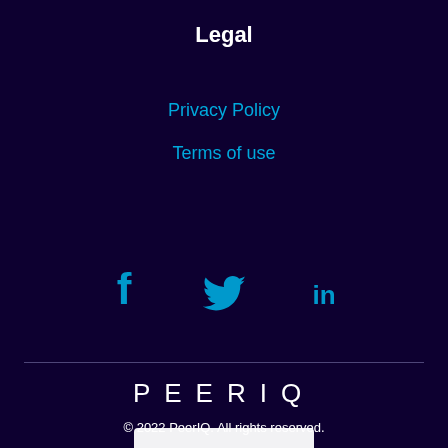Legal
Privacy Policy
Terms of use
[Figure (illustration): Social media icons: Facebook (f), Twitter (bird), LinkedIn (in) in cyan/blue color]
PEERIQ
© 2022 PeerIQ. All rights reserved.